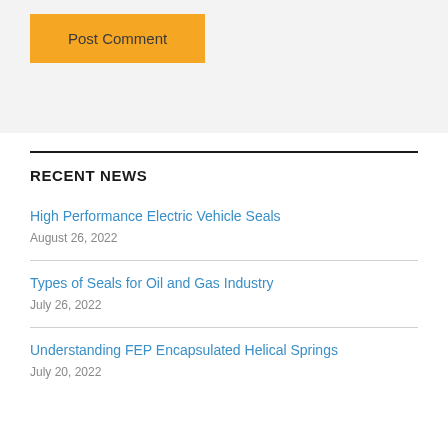Post Comment
RECENT NEWS
High Performance Electric Vehicle Seals
August 26, 2022
Types of Seals for Oil and Gas Industry
July 26, 2022
Understanding FEP Encapsulated Helical Springs
July 20, 2022